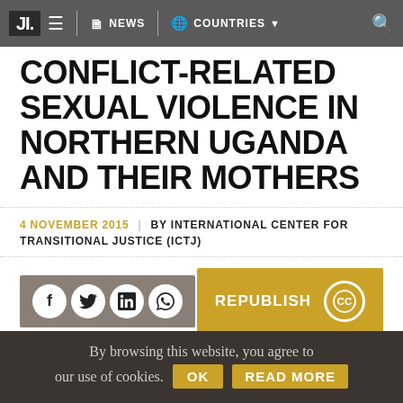JI. NEWS COUNTRIES
CONFLICT-RELATED SEXUAL VIOLENCE IN NORTHERN UGANDA AND THEIR MOTHERS
4 NOVEMBER 2015 | BY INTERNATIONAL CENTER FOR TRANSITIONAL JUSTICE (ICTJ)
[Figure (screenshot): Social sharing buttons (Facebook, Twitter, LinkedIn, WhatsApp) on grey background, and a yellow REPUBLISH button with CC icon]
[Figure (photo): Partial photo of a person, dark tones with yellow accent strip on right]
By browsing this website, you agree to our use of cookies. OK READ MORE